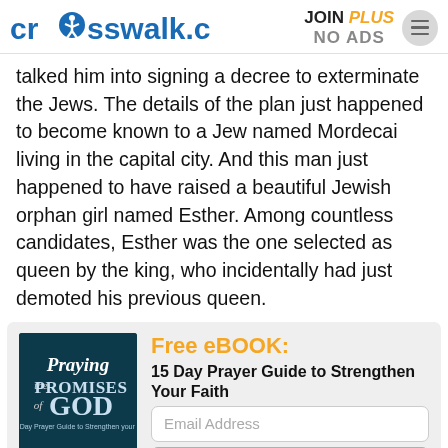crosswalk.com | JOIN PLUS NO ADS
talked him into signing a decree to exterminate the Jews. The details of the plan just happened to become known to a Jew named Mordecai living in the capital city. And this man just happened to have raised a beautiful Jewish orphan girl named Esther. Among countless candidates, Esther was the one selected as queen by the king, who incidentally had just demoted his previous queen.
[Figure (infographic): Advertisement for a free eBook: '15 Day Prayer Guide to Strengthen Your Faith' showing the book cover 'Praying the Promises of God', an email address input field, and a 'Get My Copy' button.]